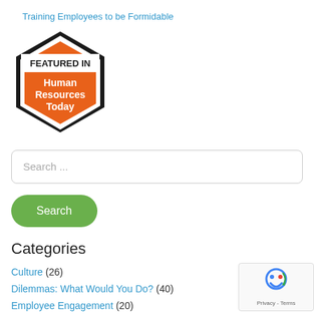Training Employees to be Formidable
[Figure (logo): Hexagon badge reading FEATURED IN Human Resources Today, with orange fill and black border]
Search ...
Search
Categories
Culture (26)
Dilemmas: What Would You Do? (40)
Employee Engagement (20)